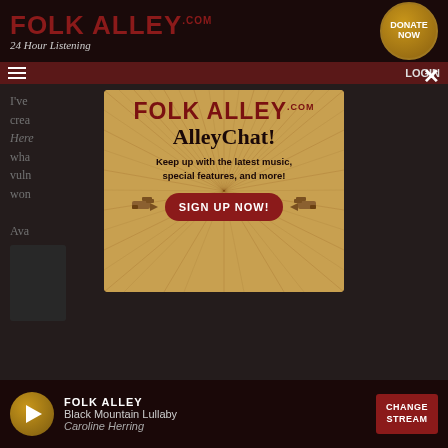FOLK ALLEY.com 24 Hour Listening
I've  crea  ...Be Here  what  ...e's vuln  won  ...ons. Ava
[Figure (screenshot): FolkAlley.com AlleyChat popup modal over website background. The modal shows 'FOLKALLEY.com' logo in dark red, 'AlleyChat!' heading in black serif font, text 'Keep up with the latest music, special features, and more!' and a red button 'SIGN UP NOW!' with pointing hand decorations on either side. Background shows dark website with navigation and player bar.]
FOLK ALLEY
Black Mountain Lullaby
Caroline Herring
CHANGE STREAM